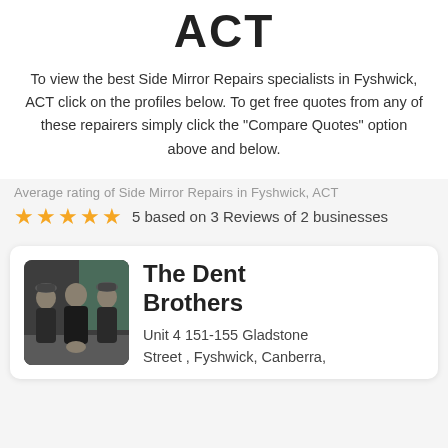ACT
To view the best Side Mirror Repairs specialists in Fyshwick, ACT click on the profiles below. To get free quotes from any of these repairers simply click the "Compare Quotes" option above and below.
Average rating of Side Mirror Repairs in Fyshwick, ACT
5 based on 3 Reviews of 2 businesses
[Figure (photo): Photo of three men in dark jackets standing together, used as business profile photo for The Dent Brothers]
The Dent Brothers
Unit 4 151-155 Gladstone Street , Fyshwick, Canberra,